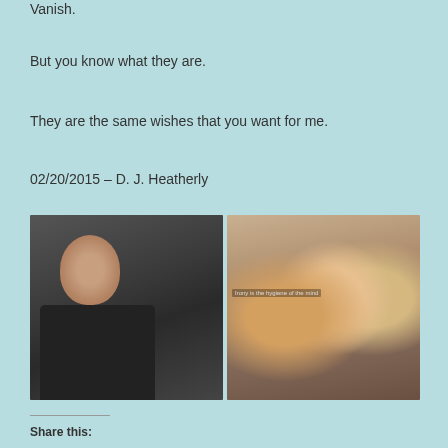Vanish.
But you know what they are.
They are the same wishes that you want for me.
02/20/2015 – D. J. Heatherly
[Figure (photo): Two side-by-side photographs. Left photo shows a smiling man with gray hair wearing a black shirt. Right photo shows a group of three people at what appears to be a restaurant or bar, with text visible on a sign in the background reading 'Irony is the hygiene of the mind'.]
Share this: